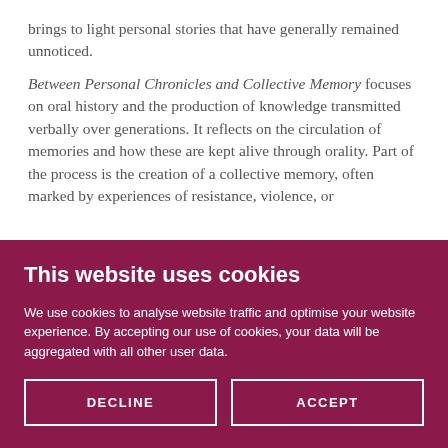brings to light personal stories that have generally remained unnoticed.

Between Personal Chronicles and Collective Memory focuses on oral history and the production of knowledge transmitted verbally over generations. It reflects on the circulation of memories and how these are kept alive through orality. Part of the process is the creation of a collective memory, often marked by experiences of resistance, violence, or
This website uses cookies
We use cookies to analyse website traffic and optimise your website experience. By accepting our use of cookies, your data will be aggregated with all other user data.
DECLINE
ACCEPT